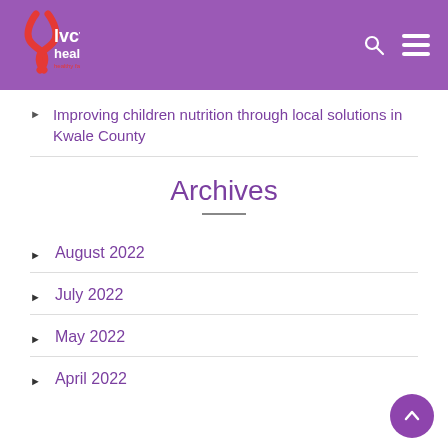[Figure (logo): LVCT Health logo with red ribbon and white text on purple header background]
Improving children nutrition through local solutions in Kwale County
Archives
August 2022
July 2022
May 2022
April 2022